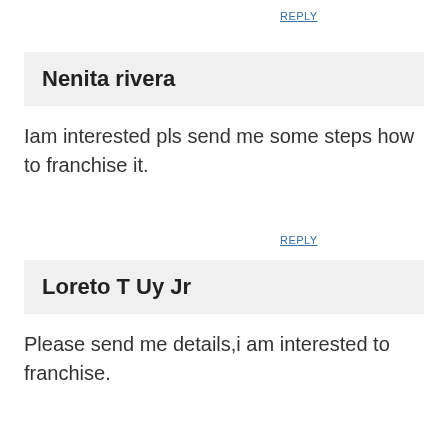REPLY
Nenita rivera
Iam interested pls send me some steps how to franchise it.
REPLY
Loreto T Uy Jr
Please send me details,i am interested to franchise.
REPLY
Randolf
I would like to enquire about how much is the Total Estimated Investment to own a franchise of HappyCup?